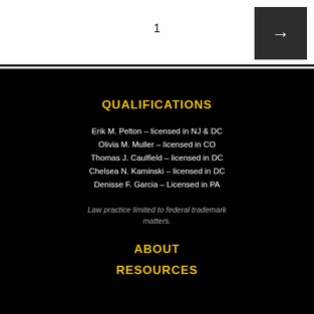1
QUALIFICATIONS
Erik M. Pelton – licensed in NJ & DC
Olivia M. Muller – licensed in CO
Thomas J. Caulfield – licensed in DC
Chelsea N. Kaminski – licensed in DC
Denisse F. Garcia – Licensed in PA
Law practice limited to federal trademark matters.
ABOUT
RESOURCES